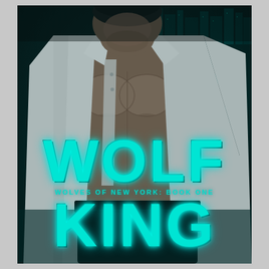[Figure (illustration): Book cover for 'Wolf King' (Wolves of New York: Book One). Dark teal/cyan toned background showing a city skyline at night. Center: muscular shirtless man with open white dress shirt, dark pants, face partially visible at top. Right side: glowing wolf with teal eyes looking directly at viewer. Large bold teal/cyan text reads 'WOLF' on upper portion and 'KING' on lower portion, with subtitle 'WOLVES OF NEW YORK: BOOK ONE' between them.]
WOLF KING
WOLVES OF NEW YORK: BOOK ONE